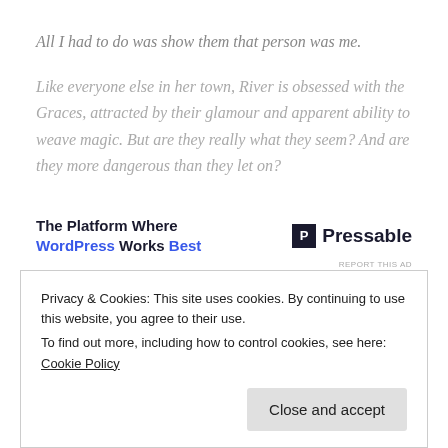All I had to do was show them that person was me.
Like everyone else in her town, River is obsessed with the Graces, attracted by their glamour and apparent ability to weave magic. But are they really what they seem? And are they more dangerous than they let on?
[Figure (other): Advertisement banner: 'The Platform Where WordPress Works Best' with Pressable logo on the right]
Privacy & Cookies: This site uses cookies. By continuing to use this website, you agree to their use.
To find out more, including how to control cookies, see here: Cookie Policy
Close and accept